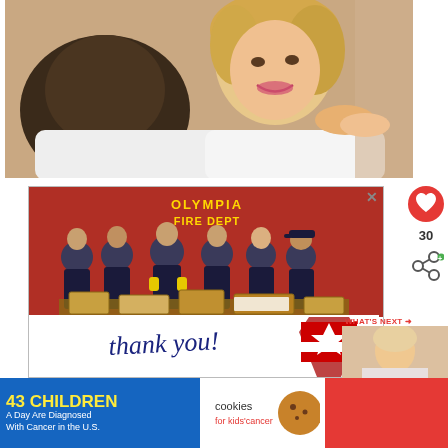[Figure (photo): Two people lying down together, a smiling blonde woman in white shirt and a man with dark hair in white shirt, holding hands in an intimate couple photo]
[Figure (photo): Group photo of firefighters in dark uniforms standing in front of a red fire truck labeled 'OLYMPIA FIRE DEPT'. They are surrounded by boxes and items. Handwritten 'thank you!' text overlaid on bottom of image. A decorative element with a Texas/American flag star design in the lower right corner.]
[Figure (photo): Small thumbnail photo of a woman for 'What's Next' section]
WHAT'S NEXT → If You Can't Talk To Him...
[Figure (infographic): Advertisement: '43 CHILDREN A Day Are Diagnosed With Cancer in the U.S.' with cookies for kids' cancer logo and 'Let's Get Baking' call to action on red background]